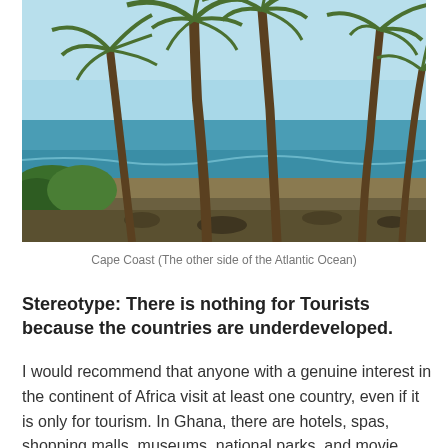[Figure (photo): Photograph of palm trees along the Cape Coast shoreline with turquoise Atlantic Ocean water visible in the background and green vegetation at the lower left.]
Cape Coast (The other side of the Atlantic Ocean)
Stereotype: There is nothing for Tourists because the countries are underdeveloped.
I would recommend that anyone with a genuine interest in the continent of Africa visit at least one country, even if it is only for tourism. In Ghana, there are hotels, spas, shopping malls, museums, national parks, and movie theaters. I am certain that other countries in Africa have the same